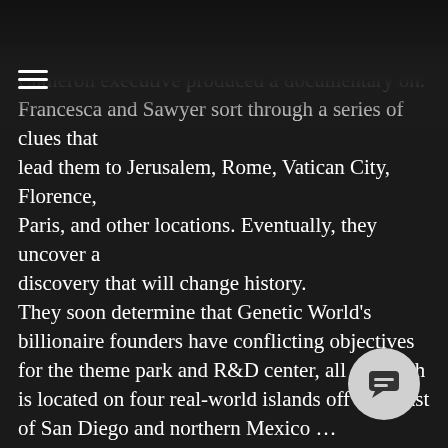acclaimed real-life Oscar-winning film director James Cameron executive produced a documentary on. Francesca and Sawyer sort through a series of clues that lead them to Jerusalem, Rome, Vatican City, Florence, Paris, and other locations. Eventually, they uncover a discovery that will change history.
They soon determine that Genetic World's billionaire founders have conflicting objectives for the theme park and R&D center, all of which is located on four real-world islands off the coast of San Diego and northern Mexico … essentially sovereign territory not under the control or laws of any country. One brother is intent on creating an educational and entertainment park that rivals Disney World and all other amusement parks—including fictional theme parks such as Jurassic Park and Westworld. The other brother has been up to illegal activities that push the boundaries of ethics and science.
As with stories by Dan Brown and Michael Crichton, Genetic World was made for the reader who likes learning